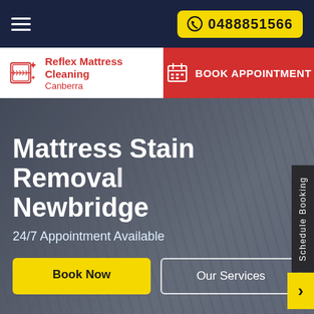0488851566
[Figure (logo): Reflex Mattress Cleaning Canberra logo with red mattress icon]
BOOK APPOINTMENT
Mattress Stain Removal Newbridge
24/7 Appointment Available
Book Now
Our Services
Schedule Booking